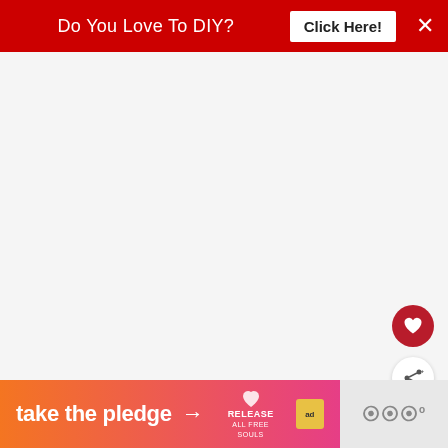[Figure (screenshot): Red promotional banner with text 'Do You Love To DIY?' and a 'Click Here!' button, with an X close button on the right]
[Figure (screenshot): White/light gray blank content area taking up majority of page]
[Figure (screenshot): Dark red circular heart (favorite) button on the right side]
[Figure (screenshot): White circular share/add button on the right side]
[Figure (screenshot): What's Next card with thumbnail image and text 'Fall Book Page Leaf...']
[Figure (screenshot): Bottom ad banner: 'take the pledge' with orange-to-pink gradient, RELEASE branding, ad badge, and gray section on right]